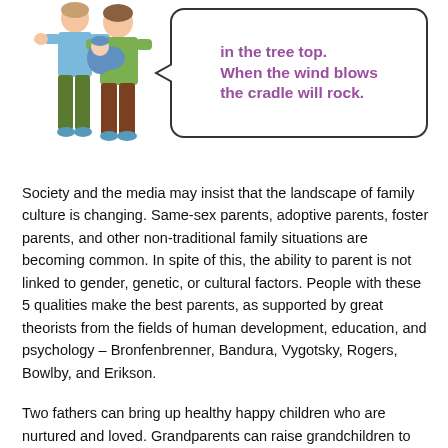[Figure (illustration): Cartoon illustration of two adults (one in blue shirt, one in green shirt) holding a baby wrapped in a blue blanket]
in the tree top. When the wind blows the cradle will rock.
Society and the media may insist that the landscape of family culture is changing. Same-sex parents, adoptive parents, foster parents, and other non-traditional family situations are becoming common. In spite of this, the ability to parent is not linked to gender, genetic, or cultural factors. People with these 5 qualities make the best parents, as supported by great theorists from the fields of human development, education, and psychology – Bronfenbrenner, Bandura, Vygotsky, Rogers, Bowlby, and Erikson.
Two fathers can bring up healthy happy children who are nurtured and loved. Grandparents can raise grandchildren to become effective adults. Two moms have the ability to teach